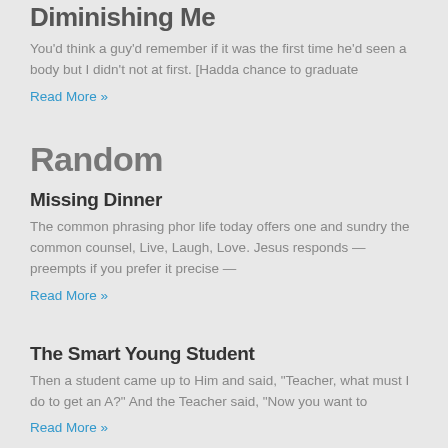Diminishing Me
You'd think a guy'd remember if it was the first time he'd seen a body but I didn't not at first. [Hadda chance to graduate
Read More »
Random
Missing Dinner
The common phrasing phor life today offers one and sundry the common counsel, Live, Laugh, Love. Jesus responds — preempts if you prefer it precise —
Read More »
The Smart Young Student
Then a student came up to Him and said, "Teacher, what must I do to get an A?" And the Teacher said, "Now you want to
Read More »